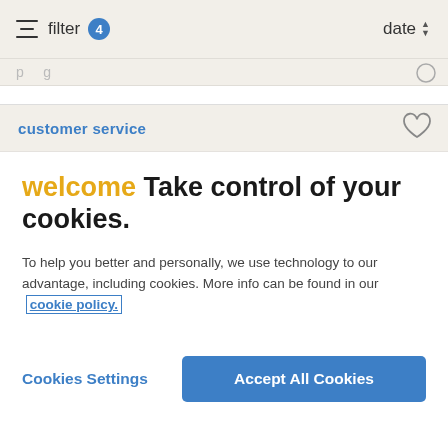filter 4   date
customer service
welcome Take control of your cookies.
To help you better and personally, we use technology to our advantage, including cookies. More info can be found in our cookie policy.
Cookies Settings   Accept All Cookies